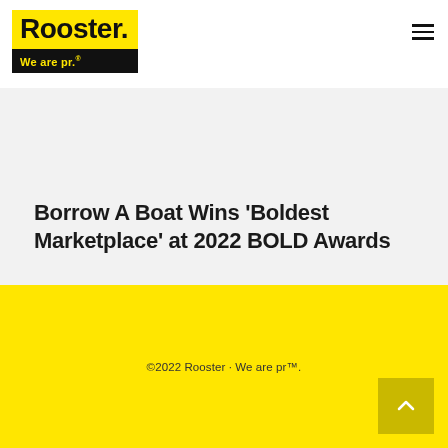[Figure (logo): Rooster PR logo: yellow background with bold black 'Rooster.' text, black bar beneath with yellow 'We are pr.' text]
Borrow A Boat Wins ‘Boldest Marketplace’ at 2022 BOLD Awards
©2022 Rooster · We are pr™.